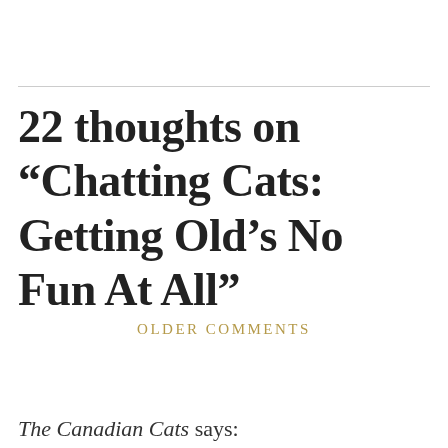22 thoughts on “Chatting Cats: Getting Old’s No Fun At All”
OLDER COMMENTS
The Canadian Cats says: